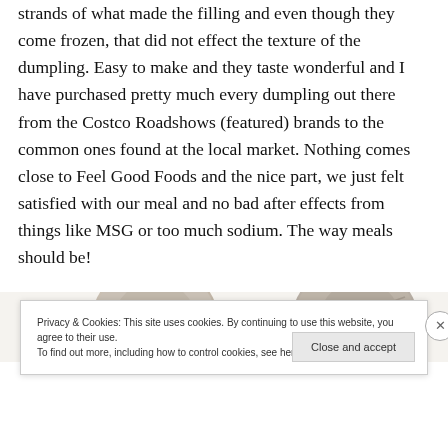strands of what made the filling and even though they come frozen, that did not effect the texture of the dumpling. Easy to make and they taste wonderful and I have purchased pretty much every dumpling out there from the Costco Roadshows (featured) brands to the common ones found at the local market. Nothing comes close to Feel Good Foods and the nice part, we just felt satisfied with our meal and no bad after effects from things like MSG or too much sodium. The way meals should be!
[Figure (photo): Two circular product images partially visible at the bottom of the page, showing packaged dumplings.]
Privacy & Cookies: This site uses cookies. By continuing to use this website, you agree to their use.
To find out more, including how to control cookies, see here: Cookie Policy
Close and accept